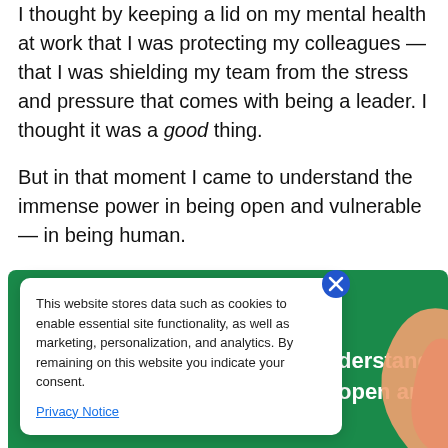I thought by keeping a lid on my mental health at work that I was protecting my colleagues — that I was shielding my team from the stress and pressure that comes with being a leader. I thought it was a good thing.
But in that moment I came to understand the immense power in being open and vulnerable — in being human.
[Figure (screenshot): Cookie consent popup with close button (X in blue circle), text about website data storage and cookies for marketing/personalization/analytics, and a Privacy Notice link. Overlaid on a green promotional image with white text reading 'derstand' and 'open and', and an orange/peach curved shape on the right.]